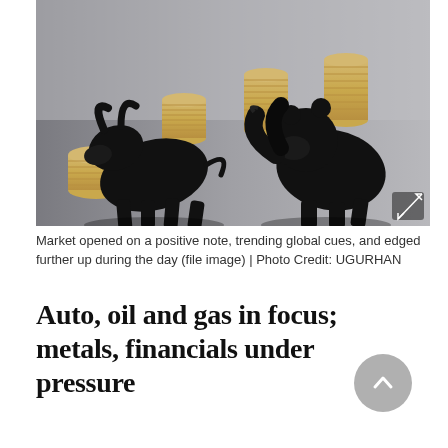[Figure (photo): Black bull and bear figurines facing each other with stacks of gold coins in the background, representing financial market forces.]
Market opened on a positive note, trending global cues, and edged further up during the day (file image) | Photo Credit: UGURHAN
Auto, oil and gas in focus; metals, financials under pressure